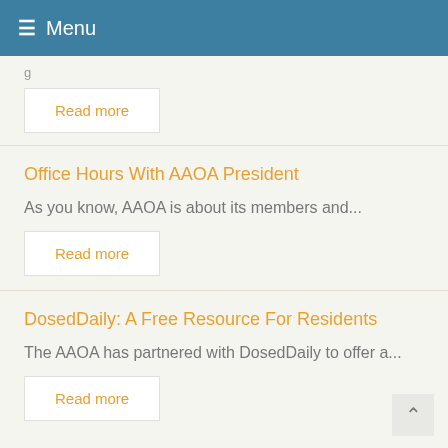≡ Menu
g
Read more
Office Hours With AAOA President
As you know, AAOA is about its members and...
Read more
DosedDaily: A Free Resource For Residents
The AAOA has partnered with DosedDaily to offer a...
Read more